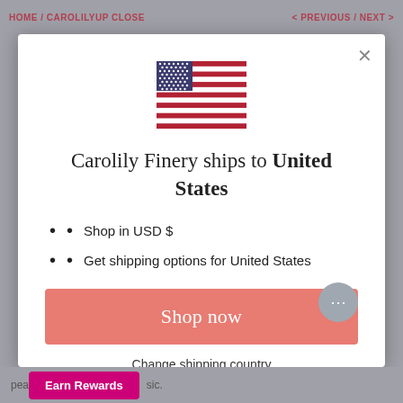HOME / CAROLILYUP CLOSE   < PREVIOUS / NEXT >
[Figure (illustration): United States flag icon]
Carolily Finery ships to United States
Shop in USD $
Get shipping options for United States
Shop now
Change shipping country
pea... Earn Rewards ...sic.